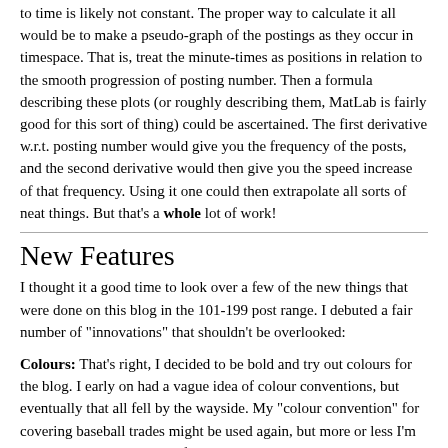to time is likely not constant. The proper way to calculate it all would be to make a pseudo-graph of the postings as they occur in timespace. That is, treat the minute-times as positions in relation to the smooth progression of posting number. Then a formula describing these plots (or roughly describing them, MatLab is fairly good for this sort of thing) could be ascertained. The first derivative w.r.t. posting number would give you the frequency of the posts, and the second derivative would then give you the speed increase of that frequency. Using it one could then extrapolate all sorts of neat things. But that's a whole lot of work!
New Features
I thought it a good time to look over a few of the new things that were done on this blog in the 101-199 post range. I debuted a fair number of "innovations" that shouldn't be overlooked:
Colours: That's right, I decided to be bold and try out colours for the blog. I early on had a vague idea of colour conventions, but eventually that all fell by the wayside. My "colour convention" for covering baseball trades might be used again, but more or less I'm using red and blue colours for the same basic purpose: an additional form of emphasis